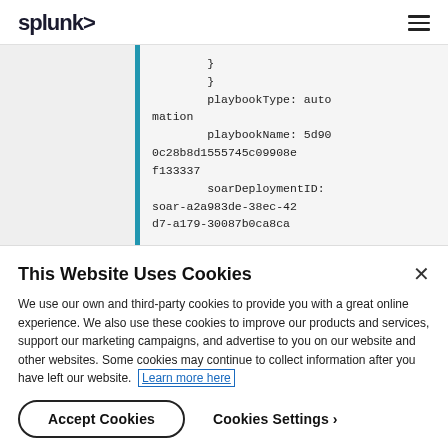splunk>
[Figure (screenshot): Code block showing YAML/JSON snippet with playbookType: automation, playbookName: 5d900c28b8d1555745c09908ef133337, soarDeploymentID: soar-a2a983de-38ec-42d7-a179-30087b0ca8ca]
This Website Uses Cookies
We use our own and third-party cookies to provide you with a great online experience. We also use these cookies to improve our products and services, support our marketing campaigns, and advertise to you on our website and other websites. Some cookies may continue to collect information after you have left our website. Learn more here
Accept Cookies   Cookies Settings ›